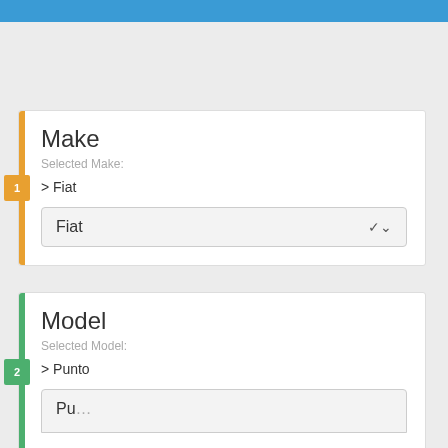[Figure (screenshot): Top blue navigation bar at the top of the page]
Make
Selected Make:
> Fiat
Fiat
Model
Selected Model:
> Punto